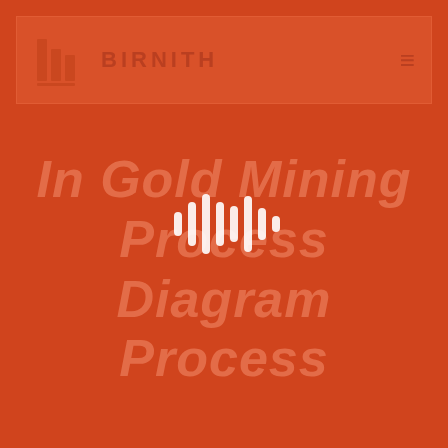[Figure (screenshot): Birnith website screenshot with orange-tinted background showing mining equipment. Header bar contains the Birnith logo (geometric building/bar chart icon), brand name 'BIRNITH', and hamburger menu icon. Center of page shows an audio waveform icon overlay. Main title text reads 'In Gold Mining Process Diagram Process' in large italic bold orange text.]
In Gold Mining Process Diagram Process